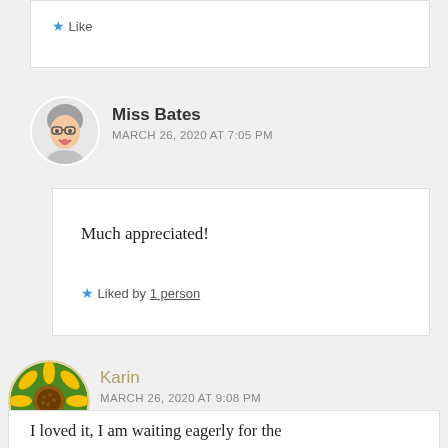★ Like
Miss Bates
MARCH 26, 2020 AT 7:05 PM
[Figure (illustration): Circular avatar of Miss Bates: a cartoon/memoji woman with gray hair and glasses]
Much appreciated!
★ Liked by 1 person
Karin
MARCH 26, 2020 AT 9:08 PM
[Figure (photo): Circular avatar photo of a yellow sunflower]
I loved it, I am waiting eagerly for the next Bow Street Bachelor. It’s called “To